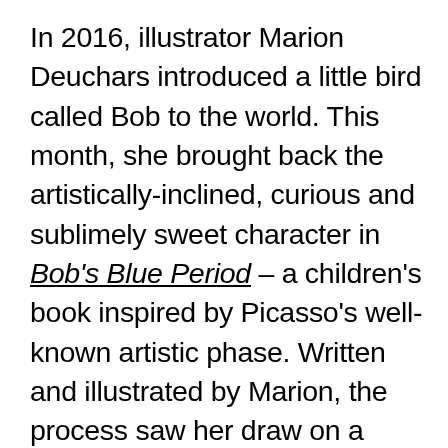In 2016, illustrator Marion Deuchars introduced a little bird called Bob to the world. This month, she brought back the artistically-inclined, curious and sublimely sweet character in Bob's Blue Period – a children's book inspired by Picasso's well-known artistic phase. Written and illustrated by Marion, the process saw her draw on a whole range of artistic inspirations including Jackson Pollock to Michael Jackson and her own family. Here, she walks us through the several stages of production – from scrutinising the story and planning out